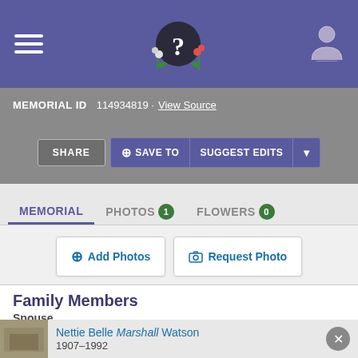[Figure (screenshot): Find A Grave website header with purple background, hamburger menu icon, question mark logo with flowers, and user icon]
MEMORIAL ID  114934819 · View Source
SHARE  ⊕ SAVE TO  SUGGEST EDITS  ▼
MEMORIAL  PHOTOS 1  FLOWERS 0
⊕ Add Photos  📷 Request Photo
Family Members
Spouse
Nettie Belle Marshall Watson
1907–1992